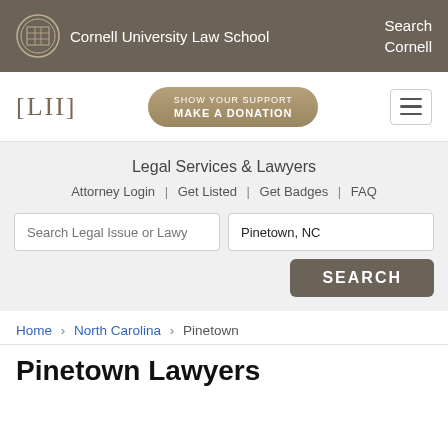Cornell University Law School | Search Cornell
[Figure (logo): LII logo with [LII] bracket text and Show Your Support Make A Donation button]
Legal Services & Lawyers
Attorney Login | Get Listed | Get Badges | FAQ
Search Legal Issue or Lawy | Pinetown, NC | SEARCH
Home › North Carolina › Pinetown
Pinetown Lawyers